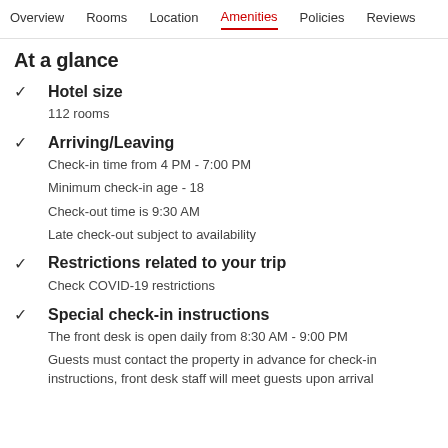Overview  Rooms  Location  Amenities  Policies  Reviews
At a glance
Hotel size
112 rooms
Arriving/Leaving
Check-in time from 4 PM - 7:00 PM
Minimum check-in age - 18
Check-out time is 9:30 AM
Late check-out subject to availability
Restrictions related to your trip
Check COVID-19 restrictions
Special check-in instructions
The front desk is open daily from 8:30 AM - 9:00 PM
Guests must contact the property in advance for check-in instructions, front desk staff will meet guests upon arrival